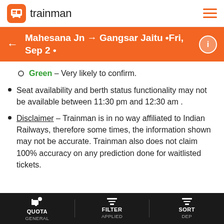trainman
Mahesana Jn → Gangsar Jaitu •Fri, Sep 2 •
Green – Very likely to confirm.
Seat availability and berth status functionality may not be available between 11:30 pm and 12:30 am .
Disclaimer – Trainman is in no way affiliated to Indian Railways, therefore some times, the information shown may not be accurate. Trainman also does not claim 100% accuracy on any prediction done for waitlisted tickets.
Trainman is the one stop shop for checking PNR status and prediction after train ticket booking on IRCTC and search for trains between stations and get instant seat availability for indian railways.
QUOTA GENERAL | FILTER APPLIED | SORT DEP